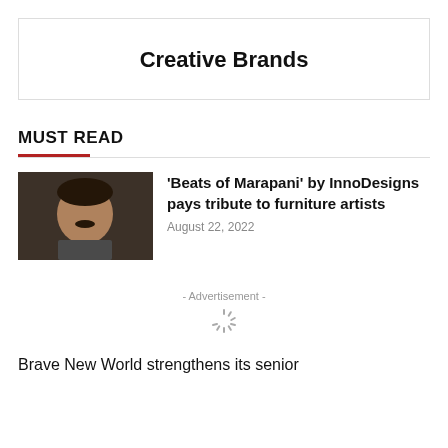Creative Brands
MUST READ
[Figure (photo): Thumbnail photo of a man, dark/indoor setting]
'Beats of Marapani' by InnoDesigns pays tribute to furniture artists
August 22, 2022
- Advertisement -
Brave New World strengthens its senior